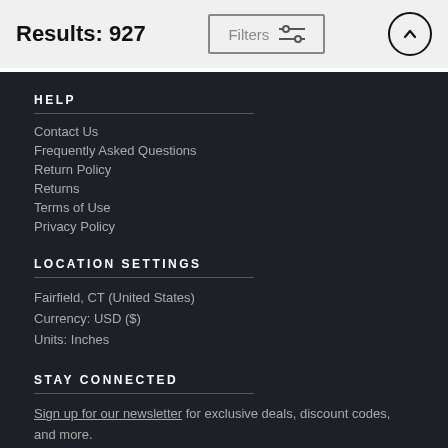Results: 927
HELP
Contact Us
Frequently Asked Questions
Return Policy
Returns
Terms of Use
Privacy Policy
LOCATION SETTINGS
Fairfield, CT (United States)
Currency: USD ($)
Units: Inches
STAY CONNECTED
Sign up for our newsletter for exclusive deals, discount codes, and more.